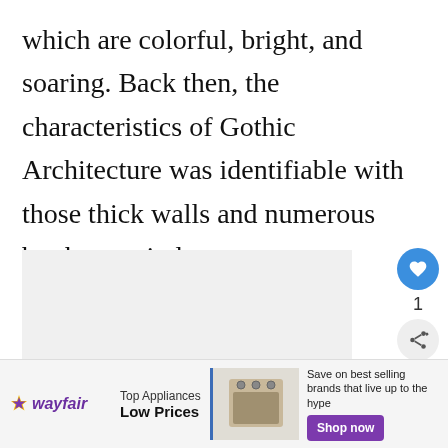which are colorful, bright, and soaring. Back then, the characteristics of Gothic Architecture was identifiable with those thick walls and numerous but huge windows.
[Figure (photo): Gray placeholder image block, likely an embedded image of Gothic architecture]
[Figure (infographic): Sidebar UI with heart/like button (blue circle with heart icon), count of 1, and share button (light circle with share icon). Also includes a 'WHAT'S NEXT' card showing a donut chart thumbnail and text 'Difference Between...']
[Figure (infographic): Wayfair advertisement banner: Wayfair logo with star, 'Top Appliances Low Prices' text, image of a stove/range appliance, and 'Save on best selling brands that live up to the hype' with purple 'Shop now' button]